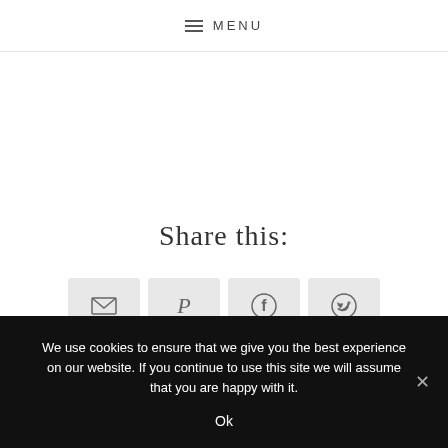MENU
Share this:
[Figure (infographic): Four share buttons: Email, Pinterest (with count 32), Facebook, Twitter]
We use cookies to ensure that we give you the best experience on our website. If you continue to use this site we will assume that you are happy with it.
Ok